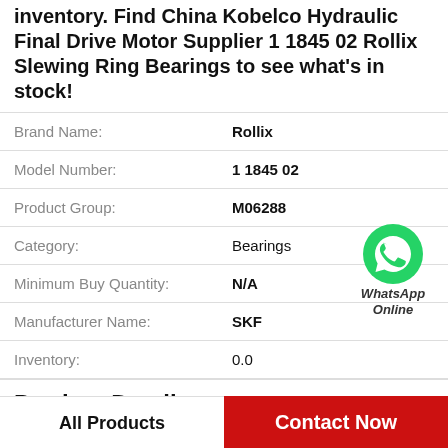inventory. Find China Kobelco Hydraulic Final Drive Motor Supplier 1 1845 02 Rollix Slewing Ring Bearings to see what's in stock!
| Field | Value |
| --- | --- |
| Brand Name: | Rollix |
| Model Number: | 1 1845 02 |
| Product Group: | M06288 |
| Category: | Bearings |
| Minimum Buy Quantity: | N/A |
| Manufacturer Name: | SKF |
| Inventory: | 0.0 |
[Figure (logo): WhatsApp contact button with green phone icon and text 'WhatsApp Online']
Product Details
All Products
Contact Now